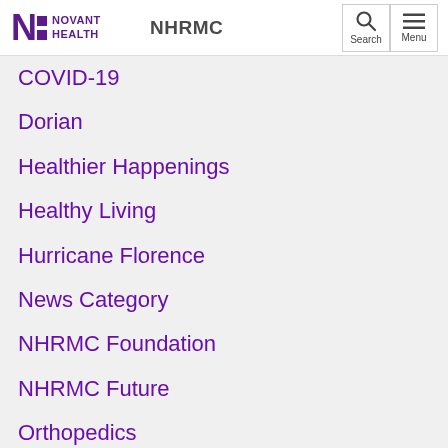Novant Health NHRMC
COVID-19
Dorian
Healthier Happenings
Healthy Living
Hurricane Florence
News Category
NHRMC Foundation
NHRMC Future
Orthopedics
Physician Group
Storm Updates